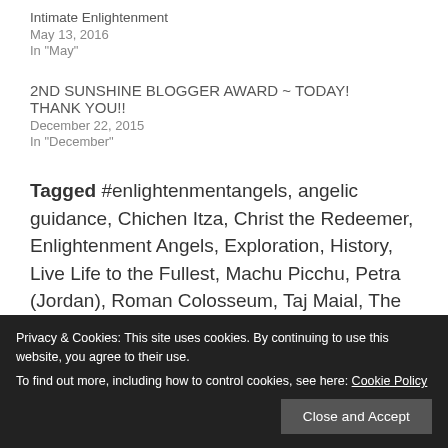Intimate Enlightenment
May 13, 2016
In "May"
2ND SUNSHINE BLOGGER AWARD ~ TODAY! THANK YOU!!
December 22, 2015
In "December"
Tagged #enlightenmentangels, angelic guidance, Chichen Itza, Christ the Redeemer, Enlightenment Angels, Exploration, History, Live Life to the Fullest, Machu Picchu, Petra (Jordan), Roman Colosseum, Taj Mahal, The Great Wall of China, Travel...
Privacy & Cookies: This site uses cookies. By continuing to use this website, you agree to their use.
To find out more, including how to control cookies, see here: Cookie Policy
Close and Accept